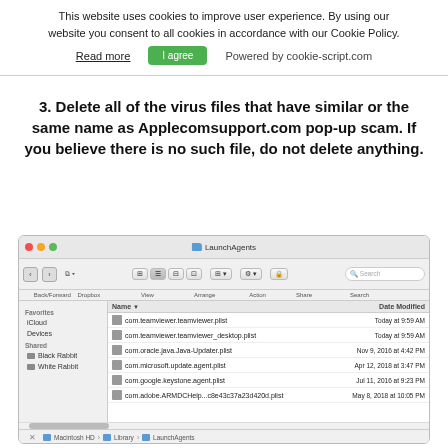This website uses cookies to improve user experience. By using our website you consent to all cookies in accordance with our Cookie Policy.
Read more   I agree   Powered by cookie-script.com
3. Delete all of the virus files that have similar or the same name as Applecomsupport.com pop-up scam. If you believe there is no such file, do not delete anything.
[Figure (screenshot): macOS Finder window showing the LaunchAgents folder with 6 plist files listed: com.teamviewer.teamviewer.plist, com.teamviewer.teamviewer_desktop.plist, com.oracle.java.Java-Updater.plist, com.microsoft.update.agent.plist, com.google.keystone.agent.plist, com.adobe.ARMDCHelp...c8e43c37a23d420d.plist. The sidebar shows Favorites, iCloud, Devices, Shared with Black Rabbit and White Rabbit. The path bar shows Macintosh HD > Library > LaunchAgents. Status bar shows 6 items, 32.3 GB available.]